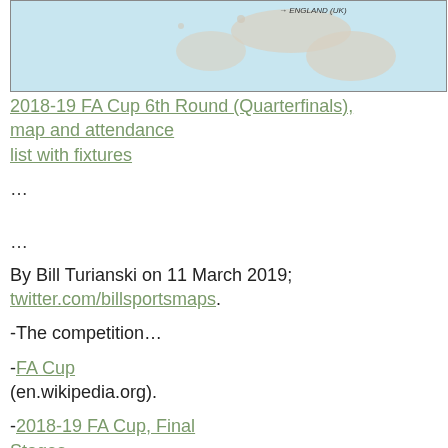[Figure (map): Partial map of England (UK) showing a light blue geographic area with a label reading '→ ENGLAND (UK)' in the upper right corner.]
2018-19 FA Cup 6th Round (Quarterfinals), map and attendance list with fixtures
…
…
By Bill Turianski on 11 March 2019; twitter.com/billsportsmaps.
-The competition…
-FA Cup (en.wikipedia.org).
-2018-19 FA Cup, Final Stages